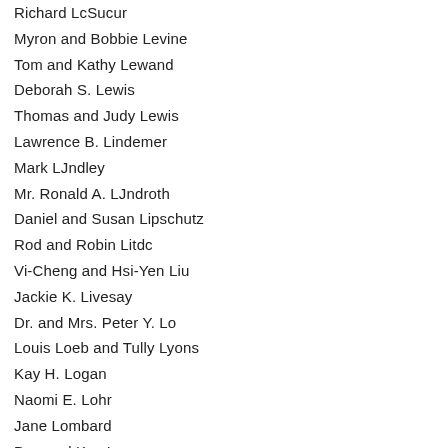Richard LcSucur
Myron and Bobbie Levine
Tom and Kathy Lewand
Deborah S. Lewis
Thomas and Judy Lewis
Lawrence B. Lindemer
Mark LJndley
Mr. Ronald A. LJndroth
Daniel and Susan Lipschutz
Rod and Robin Litdc
Vi-Cheng and Hsi-Yen Liu
Jackie K. Livesay
Dr. and Mrs. Peter Y. Lo
Louis Loeb and Tully Lyons
Kay H. Logan
Naomi E. Lohr
Jane Lombard
Dan and Kay Long
Leslie and Susan Loomans
Bruce and Pat Loughry
Joann Love
Donna and Paul Lowry
Janny Lu